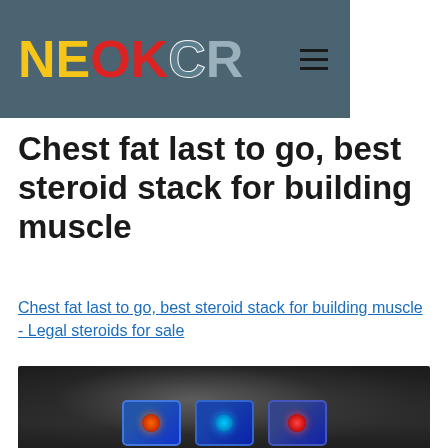NEOKCR
Chest fat last to go, best steroid stack for building muscle
Chest fat last to go, best steroid stack for building muscle - Legal steroids for sale
[Figure (photo): Dark background image with blurred bodybuilding supplement product images, three product badges with colored circular logos at the bottom]